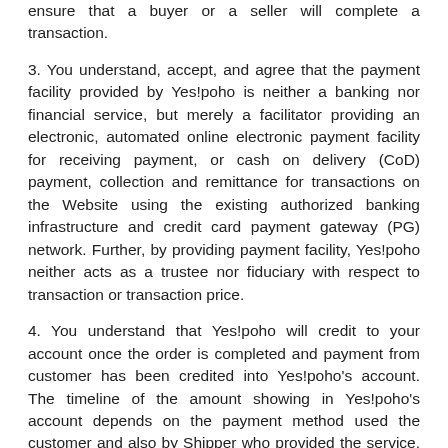ensure that a buyer or a seller will complete a transaction.
3. You understand, accept, and agree that the payment facility provided by Yes!poho is neither a banking nor financial service, but merely a facilitator providing an electronic, automated online electronic payment facility for receiving payment, or cash on delivery (CoD) payment, collection and remittance for transactions on the Website using the existing authorized banking infrastructure and credit card payment gateway (PG) network. Further, by providing payment facility, Yes!poho neither acts as a trustee nor fiduciary with respect to transaction or transaction price.
4. You understand that Yes!poho will credit to your account once the order is completed and payment from customer has been credited into Yes!poho's account. The timeline of the amount showing in Yes!poho's account depends on the payment method used the customer and also by Shipper who provided the service. Yes!poho will not be held liable for any delays in the